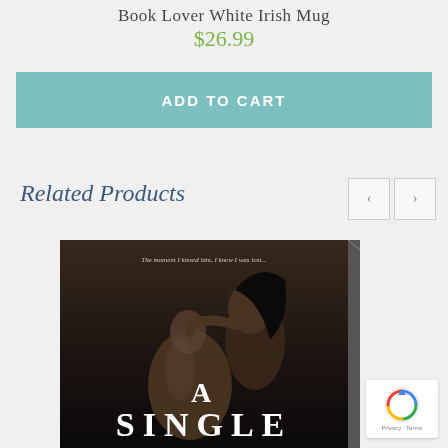Book Lover White Irish Mug
$26.99
ADD TO CART
Related Products
[Figure (photo): Book cover of 'A Single' showing a romantic couple embracing in black and white, displayed as a 3D book mockup]